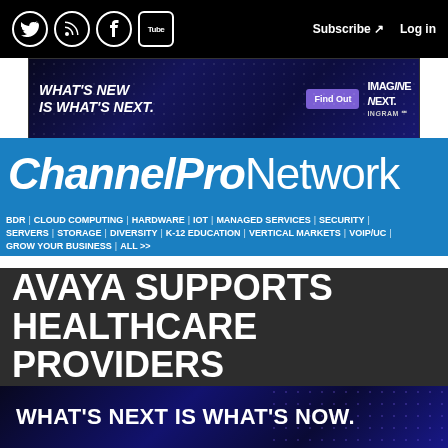Social icons: Twitter, RSS, Facebook, YouTube | Subscribe | Log in
[Figure (screenshot): Ingram Micro advertisement banner: WHAT'S NEW IS WHAT'S NEXT. Find Out | IMAGINE NEXT. INGRAM]
ChannelPro Network
BDR | CLOUD COMPUTING | HARDWARE | IOT | MANAGED SERVICES | SECURITY | SERVERS | STORAGE | DIVERSITY | K-12 EDUCATION | VERTICAL MARKETS | VOIP/UC | GROW YOUR BUSINESS | ALL >>
AVAYA SUPPORTS HEALTHCARE PROVIDERS
WHAT'S NEXT IS WHAT'S NOW.